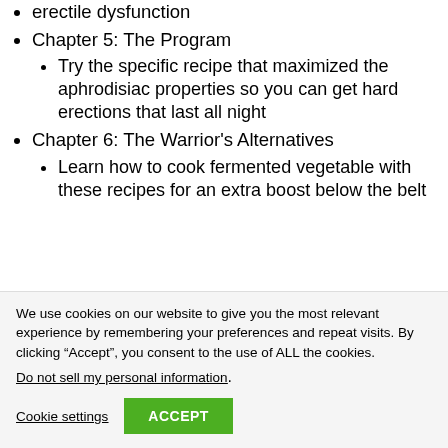erectile dysfunction
Chapter 5: The Program
Try the specific recipe that maximized the aphrodisiac properties so you can get hard erections that last all night
Chapter 6: The Warrior’s Alternatives
Learn how to cook fermented vegetable with these recipes for an extra boost below the belt
We use cookies on our website to give you the most relevant experience by remembering your preferences and repeat visits. By clicking “Accept”, you consent to the use of ALL the cookies.
Do not sell my personal information.
Cookie settings  ACCEPT